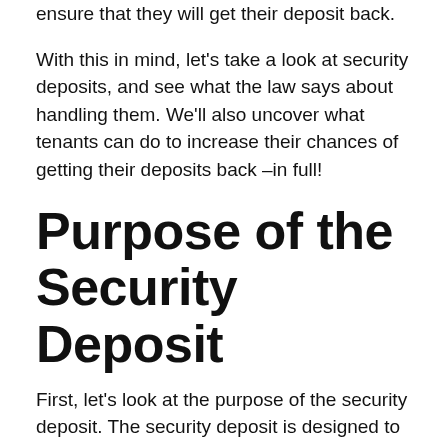ensure that they will get their deposit back.
With this in mind, let's take a look at security deposits, and see what the law says about handling them. We'll also uncover what tenants can do to increase their chances of getting their deposits back –in full!
Purpose of the Security Deposit
First, let's look at the purpose of the security deposit. The security deposit is designed to cover damage, caused by the tenant, as well as unpaid rent and outstanding bills. It can also be used to cover cleaning services to restore the rental to the condition that it was